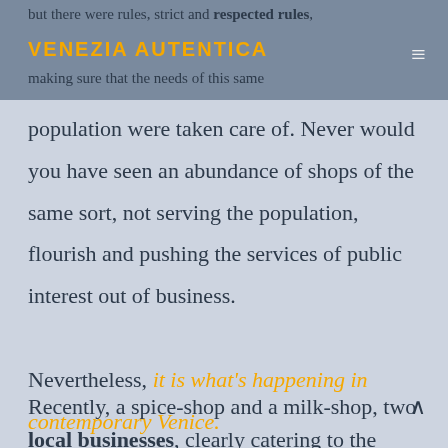but there were rules, strict and respected rules, VENEZIA AUTENTICA making sure that the needs of this same population were taken care of.
Never would you have seen an abundance of shops of the same sort, not serving the population, flourish and pushing the services of public interest out of business.
Nevertheless, it is what's happening in contemporary Venice.

Recently, a spice-shop and a milk-shop, two local businesses, clearly catering to the local
[Figure (other): Scroll-up arrow icon in bottom right]